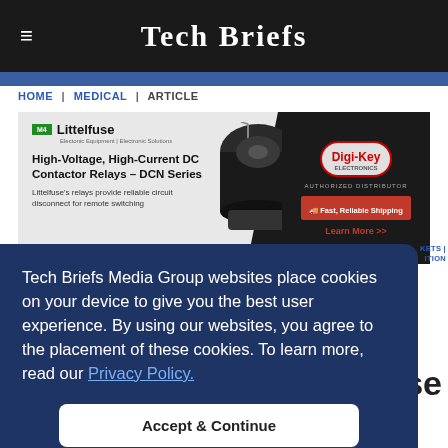Tech Briefs
HOME | MEDICAL | ARTICLE
[Figure (photo): Littelfuse and Digi-Key advertisement banner for High-Voltage, High-Current DC Contactor Relays - DCN Series. Shows product image of a cylindrical relay component.]
Tech Briefs Media Group websites place cookies on your device to give you the best user experience. By using our websites, you agree to the placement of these cookies. To learn more, read our Privacy Policy.
Accept & Continue
eive through prosthetic fingertips.